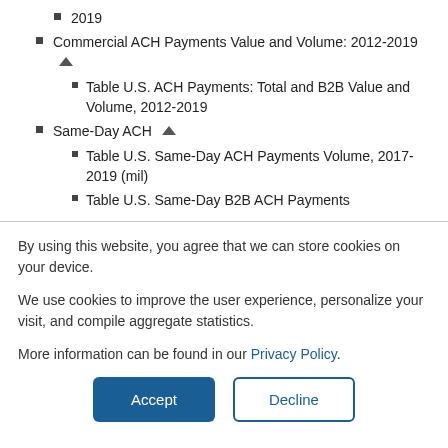2019
Commercial ACH Payments Value and Volume: 2012-2019
Table U.S. ACH Payments: Total and B2B Value and Volume, 2012-2019
Same-Day ACH
Table U.S. Same-Day ACH Payments Volume, 2017-2019 (mil)
Table U.S. Same-Day B2B ACH Payments
By using this website, you agree that we can store cookies on your device.
We use cookies to improve the user experience, personalize your visit, and compile aggregate statistics.
More information can be found in our Privacy Policy.